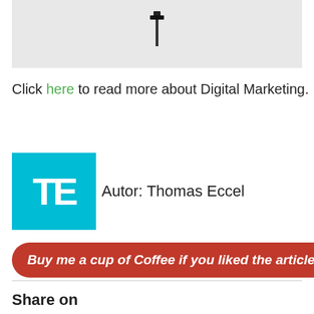[Figure (illustration): A gray background image showing a small black T-shaped or thumbtack/pushpin icon in the center]
Click here to read more about Digital Marketing.
[Figure (logo): TE logo: cyan/turquoise square background with large white letters T and E]
Autor: Thomas Eccel
Buy me a cup of Coffee if you liked the article =)
Share on